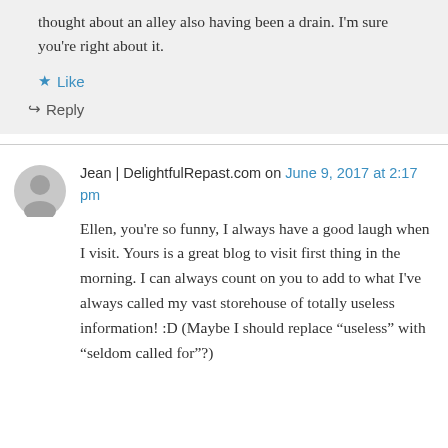thought about an alley also having been a drain. I'm sure you're right about it.
★ Like
↳ Reply
Jean | DelightfulRepast.com on June 9, 2017 at 2:17 pm
Ellen, you're so funny, I always have a good laugh when I visit. Yours is a great blog to visit first thing in the morning. I can always count on you to add to what I've always called my vast storehouse of totally useless information! :D (Maybe I should replace “useless” with “seldom called for”?)